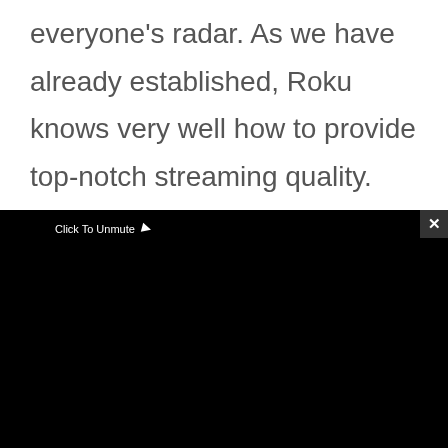everyone's radar. As we have already established, Roku knows very well how to provide top-notch streaming quality. Similar to Roku Express 4K
[Figure (screenshot): Black video player area with 'Click To Unmute' label and cursor icon, and an error message box showing 'Source not found' with a red warning icon]
Click To Unmute
Source not found